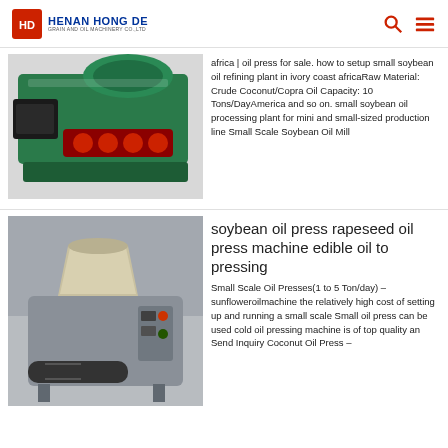HENAN HONG DE GRAIN AND OIL MACHINERY CO., LTD
[Figure (photo): Industrial oil press machine with green body and red internal components]
africa | oil press for sale. how to setup small soybean oil refining plant in ivory coast africaRaw Material: Crude Coconut/Copra Oil Capacity: 10 Tons/DayAmerica and so on. small soybean oil processing plant for mini and small-sized production line Small Scale Soybean Oil Mill
[Figure (photo): Small scale oil press machine with hopper and control panel in factory setting]
soybean oil press rapeseed oil press machine edible oil to pressing
Small Scale Oil Presses(1 to 5 Ton/day) – sunfloweroilmachine the relatively high cost of setting up and running a small scale Small oil press can be used cold oil pressing machine is of top quality an Send Inquiry Coconut Oil Press –